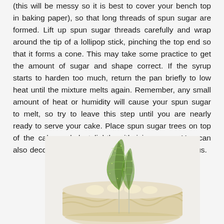(this will be messy so it is best to cover your bench top in baking paper), so that long threads of spun sugar are formed. Lift up spun sugar threads carefully and wrap around the tip of a lollipop stick, pinching the top end so that it forms a cone. This may take some practice to get the amount of sugar and shape correct. If the syrup starts to harden too much, return the pan briefly to low heat until the mixture melts again. Remember, any small amount of heat or humidity will cause your spun sugar to melt, so try to leave this step until you are nearly ready to serve your cake. Place spun sugar trees on top of the cake and dust lightly with icing sugar. You can also decorate the trees with sprinkles or silver cachous.
[Figure (photo): A white-frosted cake topped with two green spun sugar cone trees shaped like Christmas trees, viewed from the side on a white background.]